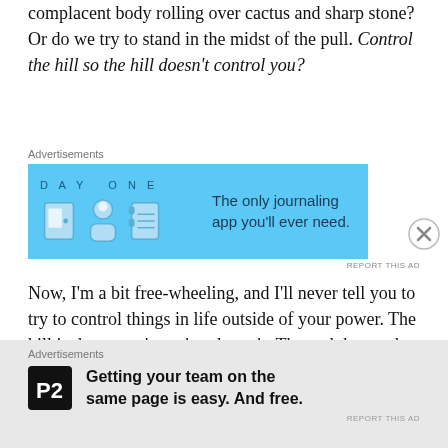complacent body rolling over cactus and sharp stone? Or do we try to stand in the midst of the pull. Control the hill so the hill doesn't control you?
[Figure (other): Advertisement banner for DAY ONE journaling app with blue background, icons, and text: 'The only journaling app you'll ever need.']
Now, I'm a bit free-wheeling, and I'll never tell you to try to control things in life outside of your power. The hill is there, you're going down it. The path has rocks you can't see until they're tripping your toes, and falls that will scar and scare you. But you can control your legs, how you view those rocks, and perhaps most importantly, how you rise after you fall. (I
[Figure (other): Advertisement banner for P2: 'Getting your team on the same page is easy. And free.' with P2 logo on grey background.]